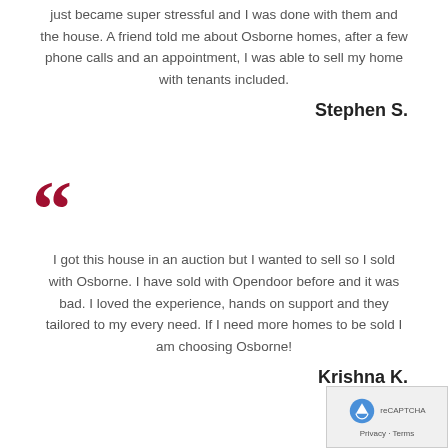just became super stressful and I was done with them and the house. A friend told me about Osborne homes, after a few phone calls and an appointment, I was able to sell my home with tenants included.
Stephen S.
[Figure (illustration): Large red double quotation mark icon]
I got this house in an auction but I wanted to sell so I sold with Osborne. I have sold with Opendoor before and it was bad. I loved the experience, hands on support and they tailored to my every need. If I need more homes to be sold I am choosing Osborne!
Krishna K.